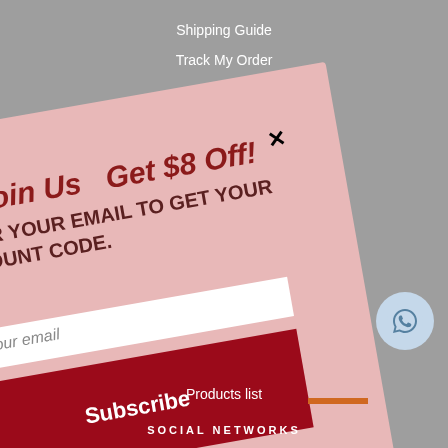Shipping Guide
Track My Order
[Figure (screenshot): Email subscription popup modal card with pink/rose background, rotated slightly, containing title 'Join Us Get $8 Off!', subtitle 'ENTER YOUR EMAIL TO GET YOUR DISCOUNT CODE.', email input field, and Subscribe button in dark red]
Products list
SOCIAL NETWORKS